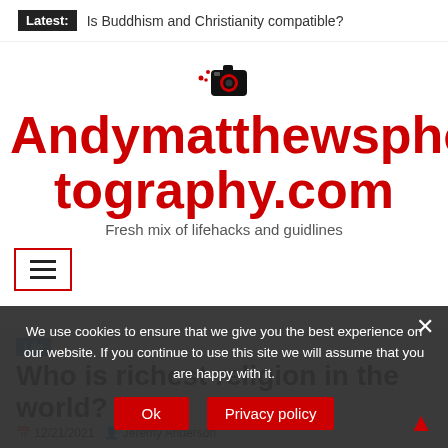Latest: Is Buddhism and Christianity compatible?
Andymatthewsphotography.com
Fresh mix of lifehacks and guidlines
[Figure (illustration): Camera icon with motion lines in red/black above the site title]
[Figure (other): Hamburger menu icon (three horizontal lines) inside a red-bordered square]
Life
Who is richest religion in the world?
12/21/2021  Jeremy Anderson
We use cookies to ensure that we give you the best experience on our website. If you continue to use this site we will assume that you are happy with it.
Ok  Privacy policy